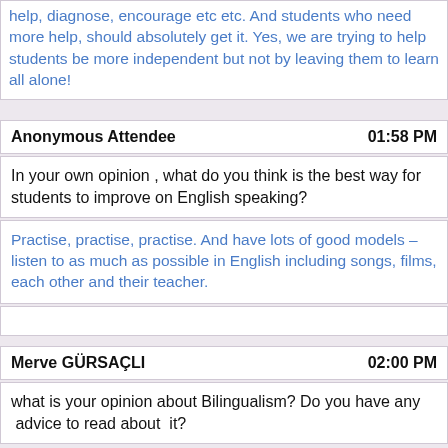help, diagnose, encourage etc etc. And students who need more help, should absolutely get it. Yes, we are trying to help students be more independent but not by leaving them to learn all alone!
Anonymous Attendee  01:58 PM
In your own opinion , what do you think is the best way for students to improve on English speaking?
Practise, practise, practise. And have lots of good models – listen to as much as possible in English including songs, films, each other and their teacher.
Merve GÜRSAÇLI  02:00 PM
what is your opinion about Bilingualism? Do you have any  advice to read about  it?